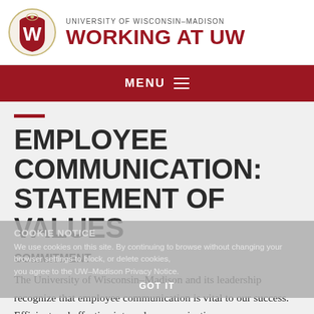UNIVERSITY OF WISCONSIN–MADISON WORKING AT UW
EMPLOYEE COMMUNICATION: STATEMENT OF VALUES
COMMITMENT
The University of Wisconsin–Madison and its leadership recognize that employee communication is vital to our success. Efficient and effective internal communication
COOKIE NOTICE We use cookies on this site. By continuing to browse without changing your browser settings to block, or delete cookies, you agree to the UW–Madison Privacy Notice. GOT IT